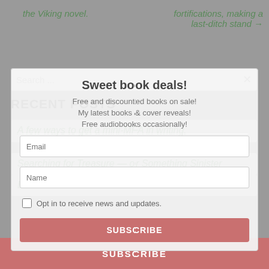the Viking novel.
fortifications, making a last-ditch stand →
Search ...
Sweet book deals!
Free and discounted books on sale!
My latest books & cover reveals!
Free audiobooks occasionally!
RECENT POSTS
A few ways to get a mini-MFA in writing.
Searching for Treasure — or Something Sinister
Biomechanics for Winter Athletes
Opt in to receive news and updates.
ARCHIVES
SUBSCRIBE